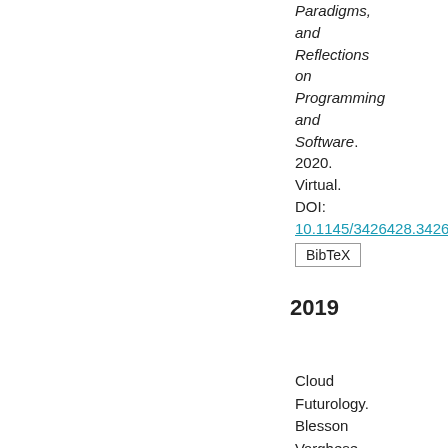Paradigms, and Reflections on Programming and Software. 2020. Virtual. DOI: 10.1145/3426428.342...
BibTeX
2019
Cloud Futurology. Blesson Varghese, Philipp Leitner, Suprio Ray,